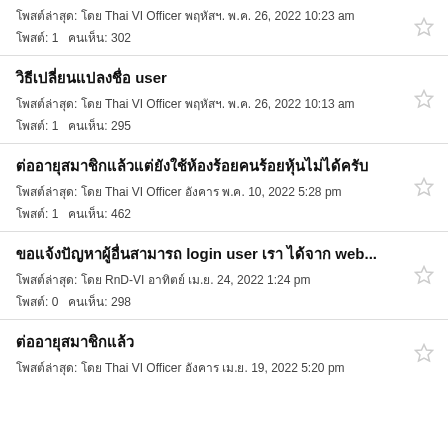โพสต์ล่าสุด: โดย Thai VI Officer พฤหัสฯ. พ.ค. 26, 2022 10:23 am
โพสต์: 1   คนเห็น: 302
วิธีเปลี่ยนแปลงชื่อ user
โพสต์ล่าสุด: โดย Thai VI Officer พฤหัสฯ. พ.ค. 26, 2022 10:13 am
โพสต์: 1   คนเห็น: 295
ต่ออายุสมาชิกแล้วแต่ยังใช้ห้องร้อยคนร้อยหุ้นไม่ได้ครับ
โพสต์ล่าสุด: โดย Thai VI Officer อังคาร พ.ค. 10, 2022 5:28 pm
โพสต์: 1   คนเห็น: 462
ขอแจ้งปัญหาผู้อื่นสามารถ login user เรา ได้จาก web...
โพสต์ล่าสุด: โดย RnD-VI อาทิตย์ เม.ย. 24, 2022 1:24 pm
โพสต์: 0   คนเห็น: 298
ต่ออายุสมาชิกแล้ว
โพสต์ล่าสุด: โดย Thai VI Officer อังคาร เม.ย. 19, 2022 5:20 pm